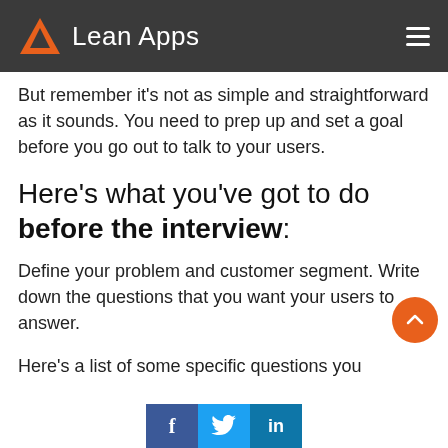Lean Apps
But remember it's not as simple and straightforward as it sounds. You need to prep up and set a goal before you go out to talk to your users.
Here's what you've got to do before the interview:
Define your problem and customer segment. Write down the questions that you want your users to answer.
Here's a list of some specific questions you
Facebook Twitter LinkedIn social share buttons